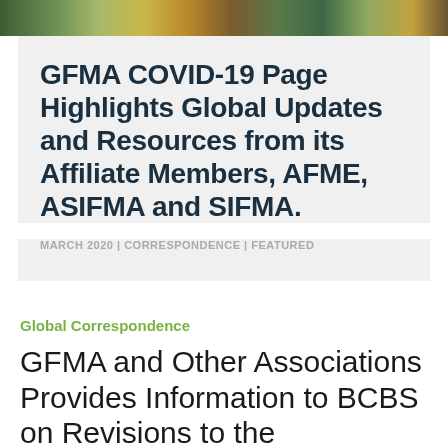[Figure (photo): Banner image showing a crowd or group of people, colorful photograph strip at the top of the page]
GFMA COVID-19 Page Highlights Global Updates and Resources from its Affiliate Members, AFME, ASIFMA and SIFMA.
MARCH 2020 | CORRESPONDENCE | FEATURED
Global Correspondence
GFMA and Other Associations Provides Information to BCBS on Revisions to the